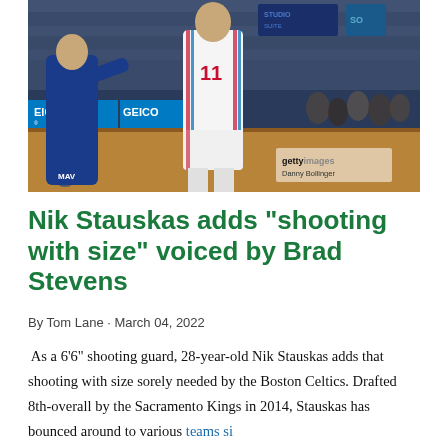[Figure (photo): Basketball game photo showing a Philadelphia 76ers player in white uniform shooting or standing on court, with a Dallas Mavericks player in blue uniform nearby. GEICO advertisement visible courtside, crowd in background. Getty Images watermark overlay with 'Danny Bollinger' credit.]
Nik Stauskas adds "shooting with size" voiced by Brad Stevens
By Tom Lane · March 04, 2022
As a 6'6" shooting guard, 28-year-old Nik Stauskas adds that shooting with size sorely needed by the Boston Celtics. Drafted 8th-overall by the Sacramento Kings in 2014, Stauskas has bounced around to various teams si…